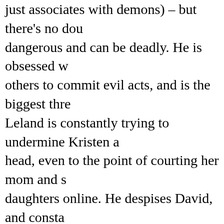just associates with demons) – but there's no dou dangerous and can be deadly. He is obsessed w others to commit evil acts, and is the biggest thre Leland is constantly trying to undermine Kristen a head, even to the point of courting her mom and s daughters online. He despises David, and consta while trying to get him to doubt the Church's teach
Christine Lahti sizzles as Kristen's hard-living a mother, Sheryl, who is not nearly as gullible as sh – and may have her own involvement with the su to Kristen's chagrin, she is courted by Leland, wh between them. Their romance is short lived, but t continues. As the series progresses, she become more drawn to the demonic forces. She eventual evildoing, but it remains unclear if she is under hi own agenda – although through three seasons, n